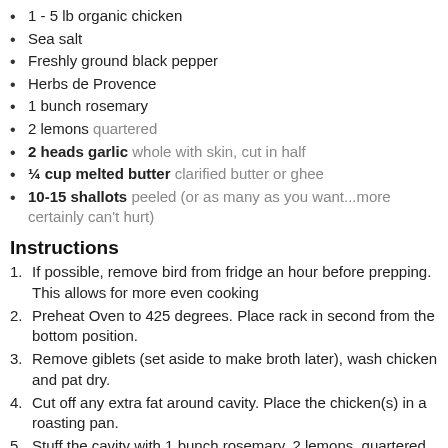1 - 5 lb organic chicken
Sea salt
Freshly ground black pepper
Herbs de Provence
1 bunch rosemary
2 lemons quartered
2 heads garlic whole with skin, cut in half
¼ cup melted butter clarified butter or ghee
10-15 shallots peeled (or as many as you want...more certainly can't hurt)
Instructions
1. If possible, remove bird from fridge an hour before prepping. This allows for more even cooking
2. Preheat Oven to 425 degrees. Place rack in second from the bottom position.
3. Remove giblets (set aside to make broth later), wash chicken and pat dry.
4. Cut off any extra fat around cavity. Place the chicken(s) in a roasting pan.
5. Stuff the cavity with 1 bunch rosemary, 2 lemons, quartered, and 2 heads of garlic, halved, skin on.
6. Brush the outside of the chicken with melted butter, clarified butter or ghee and sprinkle generously with sea salt, pepper and Herbs de Provence.
7. Tie the legs together and tuck the wings under.
8. Place peeled shallots in roasting pan around the chicken.